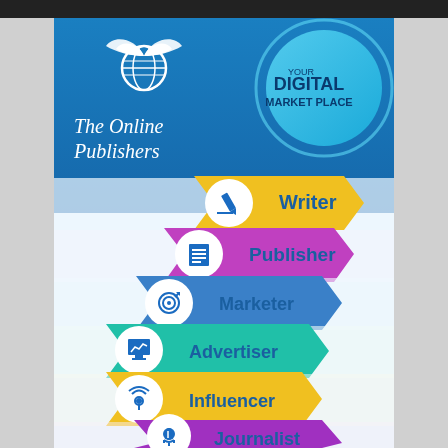[Figure (infographic): The Online Publishers infographic showing 'YOUR DIGITAL MARKET PLACE' with six roles listed: Writer, Publisher, Marketer, Advertiser, Influencer, Journalist. Each role is represented by a cascading ribbon/arrow shape with a circular icon. The background is blue gradient at top, transitioning to white/light grey. Logo shows a globe with open book pages above it.]